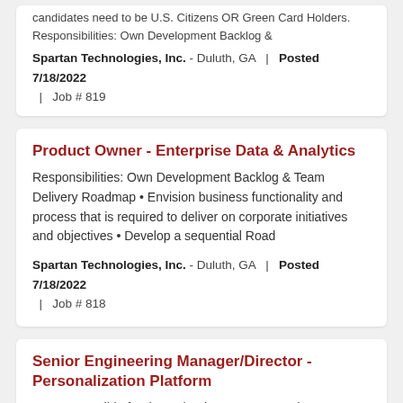candidates need to be U.S. Citizens OR Green Card Holders.   Responsibilities: Own Development Backlog & Spartan Technologies, Inc. - Duluth, GA   |   Posted 7/18/2022   |   Job # 819
Product Owner - Enterprise Data & Analytics
Responsibilities: Own Development Backlog & Team Delivery Roadmap • Envision business functionality and process that is required to deliver on corporate initiatives and objectives • Develop a sequential Road
Spartan Technologies, Inc. - Duluth, GA   |   Posted 7/18/2022   |   Job # 818
Senior Engineering Manager/Director - Personalization Platform
• Be responsible for the technology strategy and accountable for driving delivery. You will author the technical vision and lead the development of the roadmap for the Personalization Platform. • Partner with
Spartan Technologies, Inc. - San Francisco, CA   |   Posted 7/15/2022   |   Job # 816